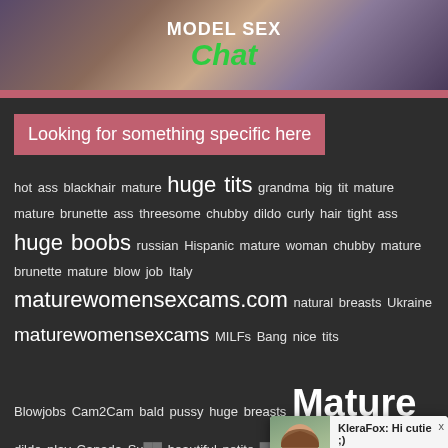[Figure (photo): Banner advertisement for 'Model Sex Chat' website showing text logo and decorative background]
Looking for something specific here
hot ass blackhair mature huge tits grandma big tit mature mature brunette ass threesome chubby dildo curly hair tight ass huge boobs russian Hispanic mature woman chubby mature brunette mature blow job Italy maturewomensexcams.com natural breasts Ukraine maturewomensexcams MILFs Bang nice tits Blowjobs Cam2Cam bald pussy huge breasts Mature dildo play Canada Su... beautiful petite ...en orgy old women... webcam c...
[Figure (screenshot): Chat widget overlay showing KleraFox avatar with message 'Hi cutie ;) I need to cum' and 'Begin Chat Here' input with Send button]